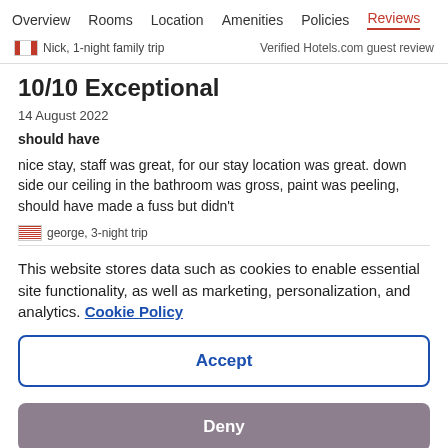Overview   Rooms   Location   Amenities   Policies   Reviews
Nick, 1-night family trip   Verified Hotels.com guest review
10/10 Exceptional
14 August 2022
should have
nice stay, staff was great, for our stay location was great. down side our ceiling in the bathroom was gross, paint was peeling, should have made a fuss but didn't
george, 3-night trip
This website stores data such as cookies to enable essential site functionality, as well as marketing, personalization, and analytics. Cookie Policy
Accept
Deny